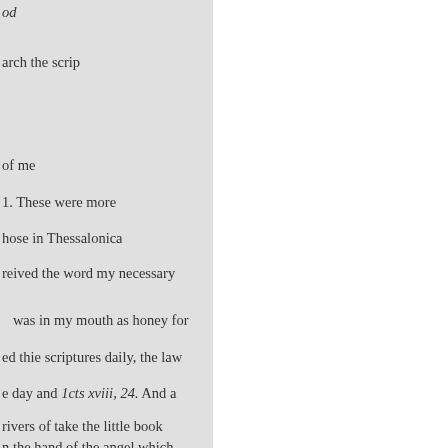od
arch the scrip
of me
1. These were more
hose in Thessalonica
reived the word my necessary
was in my mouth as honey for
ed thie scriptures daily, the law
e day and 1cts xviii, 24. And a
rivers of take the little book n the hand of the angel which the sea and upon RESUS